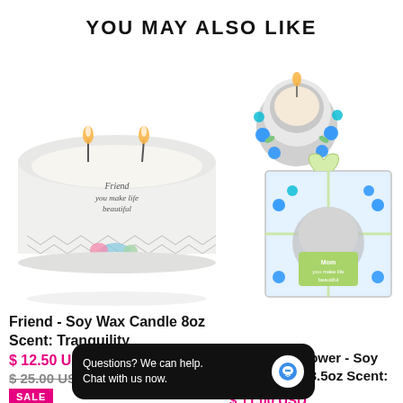YOU MAY ALSO LIKE
[Figure (photo): White ceramic soy wax candle with two wicks, labeled 'Friend you make life beautiful' with floral pattern around the base]
Friend - Soy Wax Candle 8oz Scent: Tranquility
$ 12.50 USD
$ 25.00 USD
SALE
[Figure (photo): Mom Blue Flower soy wax candle 3.5oz in decorative packaging with blue and green floral jewel embellishments and ribbon, plus a silver candle holder with blue flower decor]
Mom Blue Flower - Soy Wax Candle 3.5oz Scent: Jasmine
$ 11.00 USD
Questions? We can help.
Chat with us now.